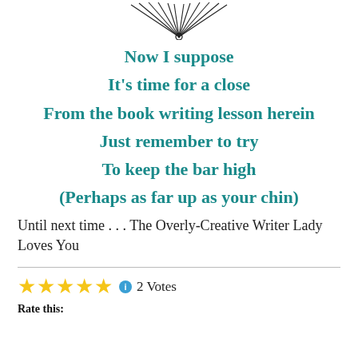[Figure (illustration): Decorative sunburst/fan line art graphic at the top center of the page]
Now I suppose
It's time for a close
From the book writing lesson herein
Just remember to try
To keep the bar high
(Perhaps as far up as your chin)
Until next time . . . The Overly-Creative Writer Lady Loves You
Rate this: ★★★★★ ℹ 2 Votes